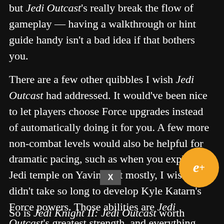but Jedi Outcast's really break the flow of gameplay — having a walkthrough or hint guide handy isn't a bad idea if that bothers you.
There are a few other quibbles I wish Jedi Outcast had addressed. It would've been nice to let players choose Force upgrades instead of automatically doing it for you. A few more non-combat levels would also be helpful for dramatic pacing, such as when you explore the Jedi temple on Yavin. But mostly, I wish it didn't take so long to develop Kyle Katarn's Force powers. Those abilities are Jedi Outcast's greatest strength, and everything else around them feels rushed and tacked on by comparison. It's almost like you're forced to play a completely different Star Wars shooter before you can experience Jedi Outcast's wonderful lightsaber combat game.
So is Jedi Knight II: Jedi Outcast worth playing today?